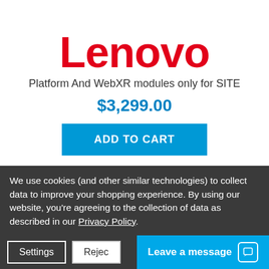[Figure (logo): Lenovo logo in red at top of first product card]
Platform And WebXR modules only for SITE
$3,299.00
ADD TO CART
[Figure (logo): Lenovo logo in red partially visible at bottom of second product card]
We use cookies (and other similar technologies) to collect data to improve your shopping experience. By using our website, you're agreeing to the collection of data as described in our Privacy Policy.
Settings
Reject
Leave a message